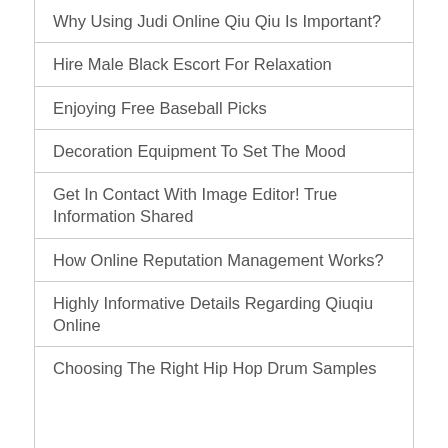Why Using Judi Online Qiu Qiu Is Important?
Hire Male Black Escort For Relaxation
Enjoying Free Baseball Picks
Decoration Equipment To Set The Mood
Get In Contact With Image Editor! True Information Shared
How Online Reputation Management Works?
Highly Informative Details Regarding Qiuqiu Online
Choosing The Right Hip Hop Drum Samples